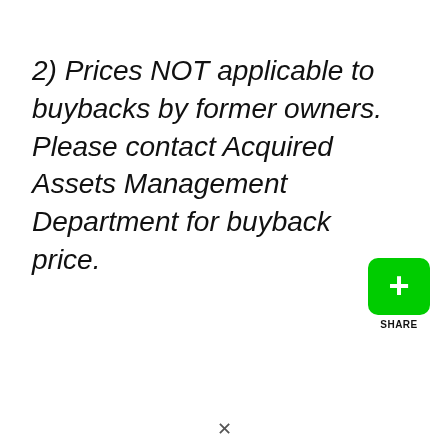2) Prices NOT applicable to buybacks by former owners. Please contact Acquired Assets Management Department for buyback price.
[Figure (other): Green share button with white plus sign and SHARE label]